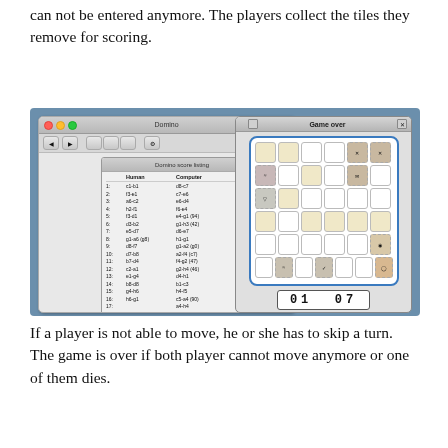can not be entered anymore. The players collect the tiles they remove for scoring.
[Figure (screenshot): Screenshot showing a Domino 0.8 application window with a file browser showing 'Domino 0.8' and 'rules.html' icons, a 'Domino score listing' window showing move history with Human and Computer columns listing moves 1-24, and a 'Game over' window showing a 6x5 grid of tiles (some beige/removed, some empty) with score display showing '01 07'.]
If a player is not able to move, he or she has to skip a turn. The game is over if both player cannot move anymore or one of them dies.